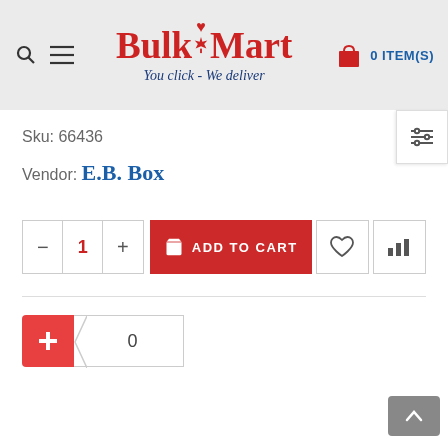BulkMart - You click - We deliver | 0 ITEM(S)
Sku: 66436
Vendor: E.B. Box
[Figure (screenshot): Add to cart row with quantity minus/1/plus controls, red ADD TO CART button with bag icon, heart wishlist icon button, and bar chart icon button]
[Figure (screenshot): Plus button (red) and zero input field with notch]
[Figure (screenshot): Scroll to top button (grey with upward chevron)]